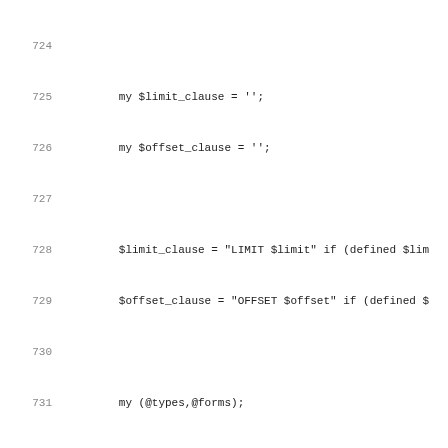Source code listing, lines 724-755
724
725    my $limit_clause = '';
726    my $offset_clause = '';
727
728    $limit_clause = "LIMIT $limit" if (defined $lim
729    $offset_clause = "OFFSET $offset" if (defined $
730
731    my (@types,@forms);
732    my ($t_filter, $f_filter) = ('','');
733
734    if ($args{format}) {
735            my ($t, $f) = split '-', $args{format};
736            @types = split '', $t;
737            @forms = split '', $f;
738            if (@types) {
739                    $t_filter = ' AND rd.item_type
740            }
741
742            if (@forms) {
743                    $f_filter .= ' AND rd.item_form
744            }
745    }
746
747
748
749    my $descendants = defined($ou_type) ?
750                            "actor.org_unit_descend
751                            "actor.org_unit_descend
752
753    my $class = $self->{cdbi};
754    my $search_table = $class->table;
755